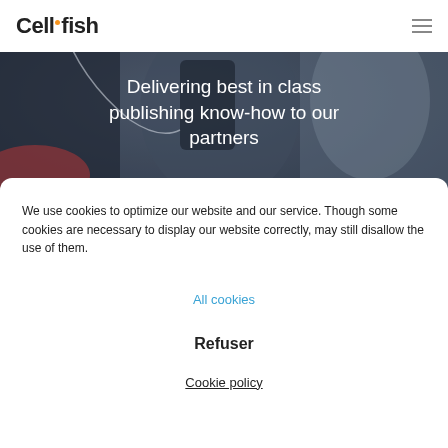[Figure (photo): Background photo of a person holding a smartphone, wearing earphones and a dark jacket. Blurred outdoor background. Used as hero banner image.]
Delivering best in class publishing know-how to our partners
We use cookies to optimize our website and our service. Though some cookies are necessary to display our website correctly, may still disallow the use of them.
All cookies
Refuser
Cookie policy